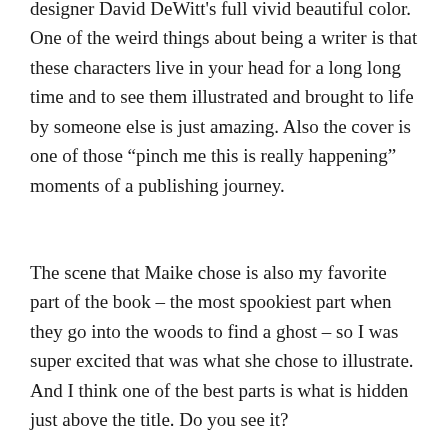designer David DeWitt's full vivid beautiful color. One of the weird things about being a writer is that these characters live in your head for a long long time and to see them illustrated and brought to life by someone else is just amazing. Also the cover is one of those “pinch me this is really happening” moments of a publishing journey.
The scene that Maike chose is also my favorite part of the book – the most spookiest part when they go into the woods to find a ghost – so I was super excited that was what she chose to illustrate. And I think one of the best parts is what is hidden just above the title. Do you see it?